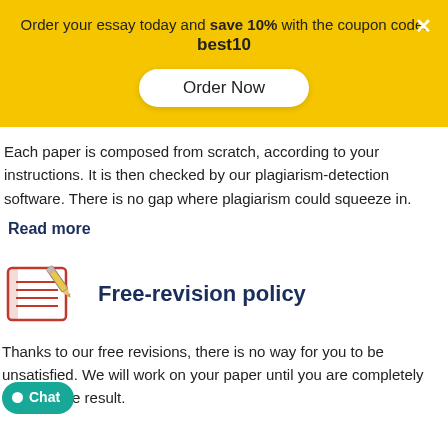Order your essay today and save 10% with the coupon code: best10
Order Now
Each paper is composed from scratch, according to your instructions. It is then checked by our plagiarism-detection software. There is no gap where plagiarism could squeeze in.
Read more
[Figure (illustration): Icon of a notebook with pencil and red lined pages]
Free-revision policy
Thanks to our free revisions, there is no way for you to be unsatisfied. We will work on your paper until you are completely happy with the result.